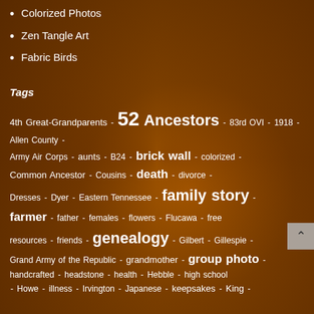Colorized Photos
Zen Tangle Art
Fabric Birds
Tags
4th Great-Grandparents - 52 Ancestors - 83rd OVI - 1918 - Allen County - Army Air Corps - aunts - B24 - brick wall - colorized - Common Ancestor - Cousins - death - divorce - Dresses - Dyer - Eastern Tennessee - family story - farmer - father - females - flowers - Flucawa - free resources - friends - genealogy - Gilbert - Gillespie - Grand Army of the Republic - grandmother - group photo - handcrafted - headstone - health - Hebble - high school - Howe - illness - Irvington - Japanese - keepsakes - King -